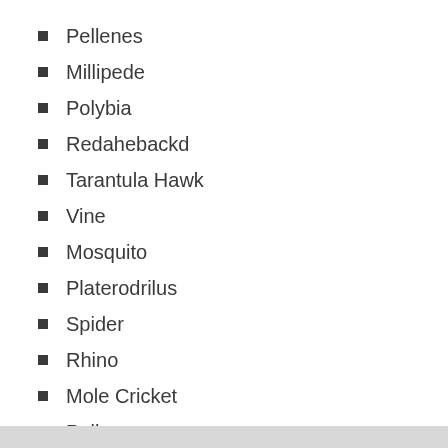Pellenes
Millipede
Polybia
Redahebackd
Tarantula Hawk
Vine
Mosquito
Platerodrilus
Spider
Rhino
Mole Cricket
Pollen